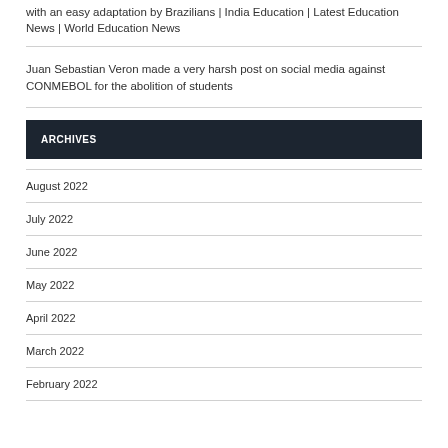with an easy adaptation by Brazilians | India Education | Latest Education News | World Education News
Juan Sebastian Veron made a very harsh post on social media against CONMEBOL for the abolition of students
ARCHIVES
August 2022
July 2022
June 2022
May 2022
April 2022
March 2022
February 2022